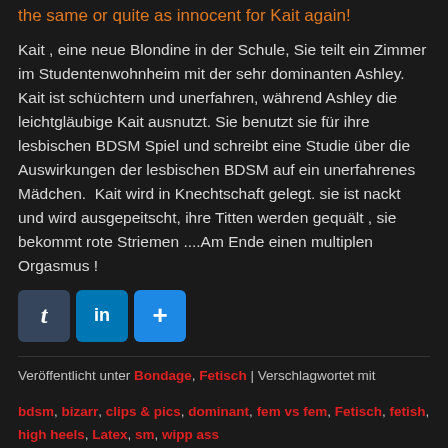the same or quite as innocent for Kait again!
Kait , eine neue Blondine in der Schule, Sie teilt ein Zimmer im Studentenwohnheim mit der sehr dominanten Ashley. Kait ist schüchtern und unerfahren, während Ashley die leichtgläubige Kait ausnutzt. Sie benutzt sie für ihre lesbischen BDSM Spiel und schreibt eine Studie über die Auswirkungen der lesbischen BDSM auf ein unerfahrenes Mädchen.  Kait wird in Knechtschaft gelegt. sie ist nackt und wird ausgepeitscht, ihre Titten werden gequält , sie bekommt rote Striemen ....Am Ende einen multiplen Orgasmus !
[Figure (other): Social sharing icons: Tumblr (t), LinkedIn (in), and a plus/share button]
Veröffentlicht unter Bondage, Fetisch | Verschlagwortet mit bdsm, bizarr, clips & pics, dominant, fem vs fem, Fetisch, fetish, high heels, Latex, sm, wipp ass
Bondage with Haley Cummings